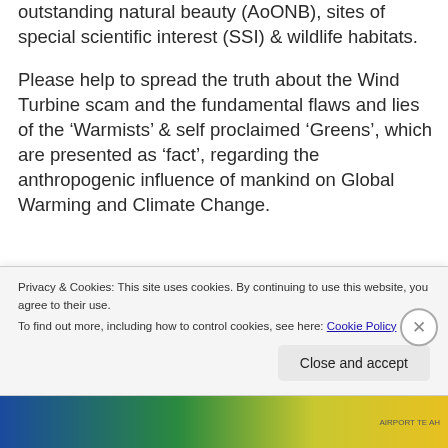outstanding natural beauty (AoONB), sites of special scientific interest (SSI) & wildlife habitats.
Please help to spread the truth about the Wind Turbine scam and the fundamental flaws and lies of the ‘Warmists’ & self proclaimed ‘Greens’, which are presented as ‘fact’, regarding the anthropogenic influence of mankind on Global Warming and Climate Change.
Privacy & Cookies: This site uses cookies. By continuing to use this website, you agree to their use. To find out more, including how to control cookies, see here: Cookie Policy